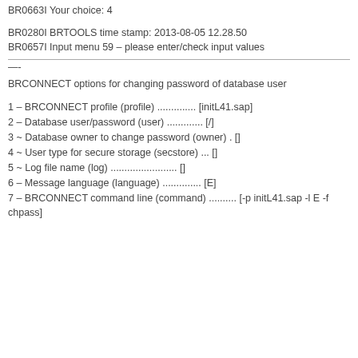BR0663I Your choice: 4
BR0280I BRTOOLS time stamp: 2013-08-05 12.28.50
BR0657I Input menu 59 – please enter/check input values
————————————————————————————————————
—-
BRCONNECT options for changing password of database user
1 – BRCONNECT profile (profile) .............. [initL41.sap]
2 – Database user/password (user) ............. [/]
3 ~ Database owner to change password (owner) . []
4 ~ User type for secure storage (secstore) ... []
5 ~ Log file name (log) ........................ []
6 – Message language (language) .............. [E]
7 – BRCONNECT command line (command) .......... [-p initL41.sap -l E -f chpass]